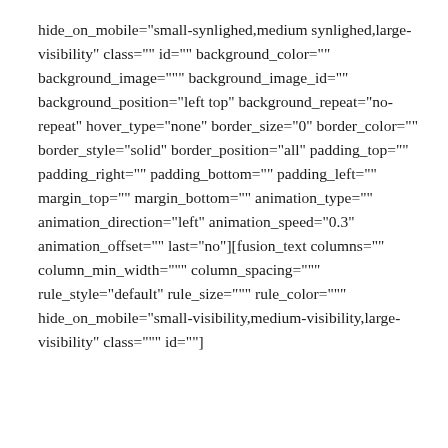hide_on_mobile="small-synlighed,medium synlighed,large-visibility" class="" id="" background_color="" background_image=""" background_image_id="" background_position="left top" background_repeat="no-repeat" hover_type="none" border_size="0" border_color="" border_style="solid" border_position="all" padding_top="" padding_right="" padding_bottom="" padding_left="" margin_top="" margin_bottom="" animation_type="" animation_direction="left" animation_speed="0.3" animation_offset="" last="no"][fusion_text columns="" column_min_width=""" column_spacing=""" rule_style="default" rule_size=""" rule_color=""" hide_on_mobile="small-visibility,medium-visibility,large-visibility" class=""" id=""]